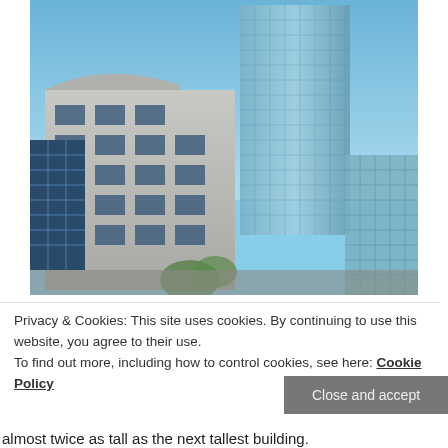[Figure (photo): Photograph of modern office/commercial buildings with glass facades and a tall skyscraper in the background against a clear blue sky. A lower multi-story building with solar panels on the left and a curved glass structure on the right are visible.]
Privacy & Cookies: This site uses cookies. By continuing to use this website, you agree to their use.
To find out more, including how to control cookies, see here: Cookie Policy
Close and accept
almost twice as tall as the next tallest building.